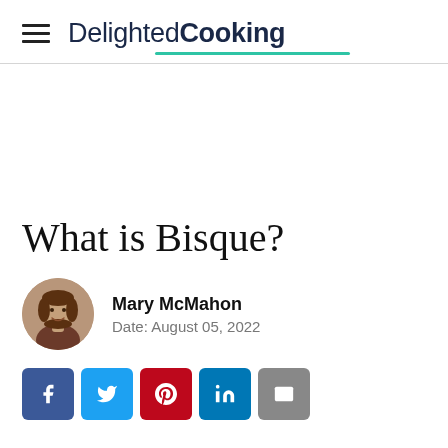DelightedCooking
What is Bisque?
Mary McMahon
Date: August 05, 2022
[Figure (other): Social share buttons: Facebook, Twitter, Pinterest, LinkedIn, Email]